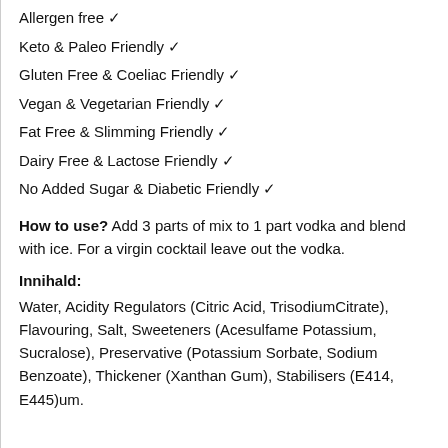Allergen free ✓
Keto & Paleo Friendly ✓
Gluten Free & Coeliac Friendly ✓
Vegan & Vegetarian Friendly ✓
Fat Free & Slimming Friendly ✓
Dairy Free & Lactose Friendly ✓
No Added Sugar & Diabetic Friendly ✓
How to use? Add 3 parts of mix to 1 part vodka and blend with ice. For a virgin cocktail leave out the vodka.
Innihald:
Water, Acidity Regulators (Citric Acid, TrisodiumCitrate), Flavouring, Salt, Sweeteners (Acesulfame Potassium, Sucralose), Preservative (Potassium Sorbate, Sodium Benzoate), Thickener (Xanthan Gum), Stabilisers (E414, E445)um.